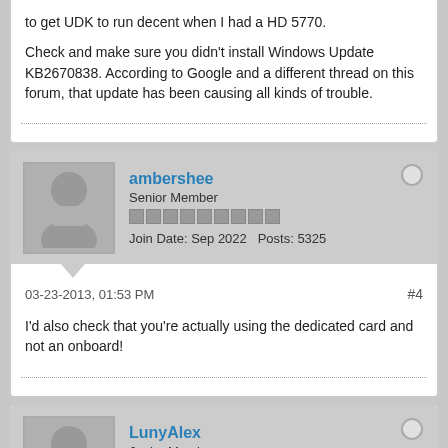to get UDK to run decent when I had a HD 5770.

Check and make sure you didn't install Windows Update KB2670838. According to Google and a different thread on this forum, that update has been causing all kinds of trouble.
ambershee
Senior Member
Join Date: Sep 2022   Posts: 5325
03-23-2013, 01:53 PM
#4
I'd also check that you're actually using the dedicated card and not an onboard!
LunyAlex
Junior Member
Join Date: Sep 2022   Posts: 2